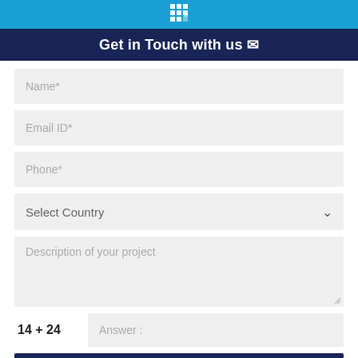[Figure (logo): White building icon on light blue background bar at top of page]
Get in Touch with us ✉
Name*
Email ID*
Phone*
Select Country
Description of your project
14 + 24   Answer :
SUBMIT